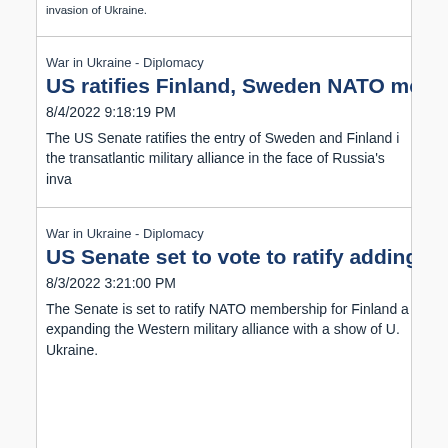invasion of Ukraine.
War in Ukraine - Diplomacy
US ratifies Finland, Sweden NATO membe...
8/4/2022 9:18:19 PM
The US Senate ratifies the entry of Sweden and Finland i... the transatlantic military alliance in the face of Russia's inva...
War in Ukraine - Diplomacy
US Senate set to vote to ratify adding Swed...
8/3/2022 3:21:00 PM
The Senate is set to ratify NATO membership for Finland a... expanding the Western military alliance with a show of U... Ukraine.